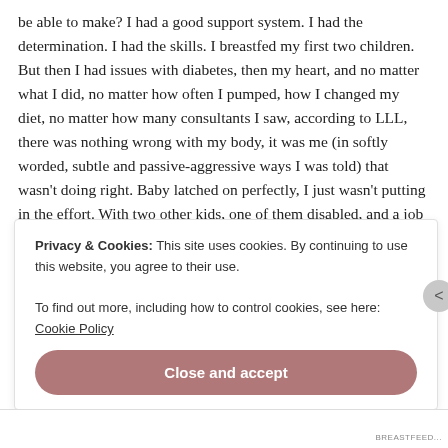be able to make? I had a good support system. I had the determination. I had the skills. I breastfed my first two children. But then I had issues with diabetes, then my heart, and no matter what I did, no matter how often I pumped, how I changed my diet, no matter how many consultants I saw, according to LLL, there was nothing wrong with my body, it was me (in softly worded, subtle and passive-aggressive ways I was told) that wasn't doing right. Baby latched on perfectly, I just wasn't putting in the effort. With two other kids, one of them disabled, and a job at home, already walking around bra-less (which is mentally uncomfortable for me) to keep my
Privacy & Cookies: This site uses cookies. By continuing to use this website, you agree to their use.
To find out more, including how to control cookies, see here: Cookie Policy
Close and accept